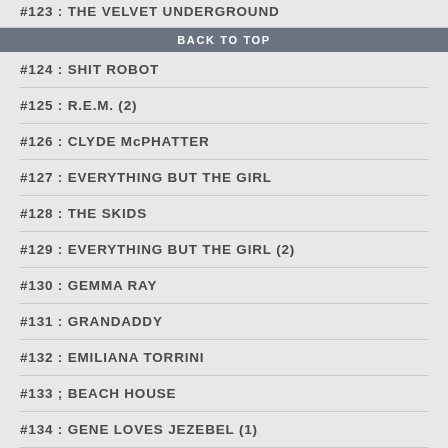#123 : THE VELVET UNDERGROUND
BACK TO TOP
#124 : SHIT ROBOT
#125 : R.E.M. (2)
#126 : CLYDE McPHATTER
#127 : EVERYTHING BUT THE GIRL
#128 : THE SKIDS
#129 : EVERYTHING BUT THE GIRL (2)
#130 : GEMMA RAY
#131 : GRANDADDY
#132 : EMILIANA TORRINI
#133 ; BEACH HOUSE
#134 : GENE LOVES JEZEBEL (1)
#135 : LIGHTNING SEEDS
#136 : ELVIS COSTELLO & THE ATTRACTIONS